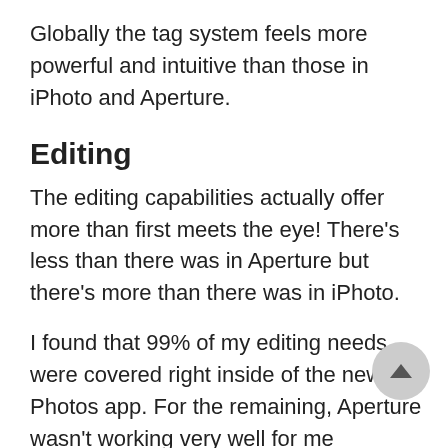Globally the tag system feels more powerful and intuitive than those in iPhoto and Aperture.
Editing
The editing capabilities actually offer more than first meets the eye! There’s less than there was in Aperture but there’s more than there was in iPhoto.
I found that 99% of my editing needs were covered right inside of the new Photos app. For the remaining, Aperture wasn’t working very well for me anyways. I always found brushes to be less intuitive to use than Photoshop masks.
Now the main paint point remains that there is no